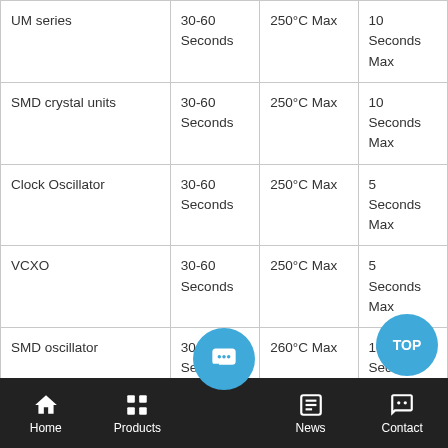| Product | Time | Temperature | Duration |
| --- | --- | --- | --- |
| UM series | 30-60 Seconds | 250°C Max | 10 Seconds Max |
| SMD crystal units | 30-60 Seconds | 250°C Max | 10 Seconds Max |
| Clock Oscillator | 30-60 Seconds | 250°C Max | 5 Seconds Max |
| VCXO | 30-60 Seconds | 250°C Max | 5 Seconds Max |
| SMD oscillator | 30-60 Seconds | 260°C Max | 10 Seconds Max |
Home | Products | (chat) | News | Contact